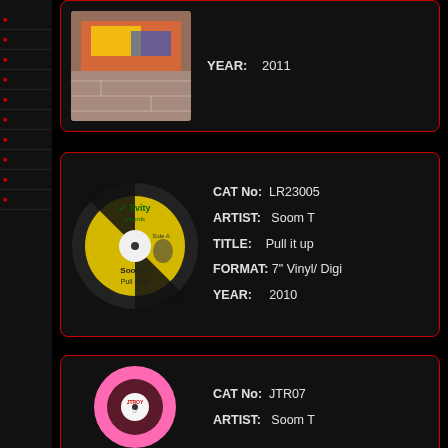[Figure (photo): Record label card top - partially visible, shows colorful graffiti artwork with YEAR: 2011]
YEAR:    2011
[Figure (photo): Yellow and black vinyl record label for 'Soom T - Pull it up' on Livity Records]
CAT No:  LR23005
ARTIST:  Soom T
TITLE:   Pull it up
FORMAT: 7" Vinyl/ Digi
YEAR:    2010
[Figure (photo): Pink and black vinyl record label for JTR07 - Soom T]
CAT No:  JTR07
ARTIST:  Soom T